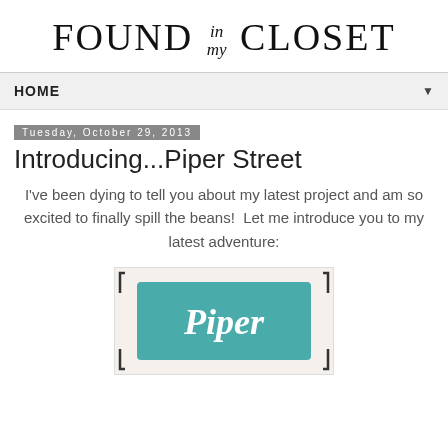[Figure (logo): Found in my Closet blog logo — serif text reading FOUND in my CLOSET]
HOME ▼
Tuesday, October 29, 2013
Introducing...Piper Street
I've been dying to tell you about my latest project and am so excited to finally spill the beans!  Let me introduce you to my latest adventure:
[Figure (logo): Piper Street logo — teal badge shape with decorative bracket corners and cursive text reading 'Piper']